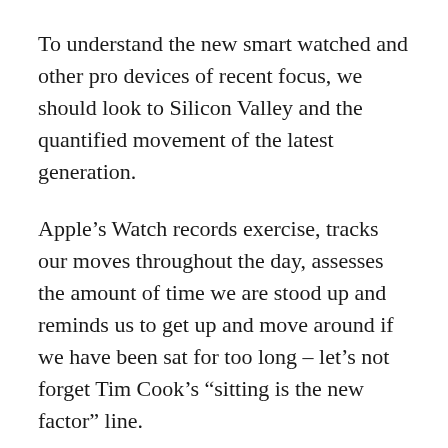To understand the new smart watched and other pro devices of recent focus, we should look to Silicon Valley and the quantified movement of the latest generation.
Apple’s Watch records exercise, tracks our moves throughout the day, assesses the amount of time we are stood up and reminds us to get up and move around if we have been sat for too long – let’s not forget Tim Cook’s “sitting is the new factor” line.
As you’re tapping, scrolling, and swiping on your phone, you probably don’t give much thought to the fact that your apps are consuming electricity –